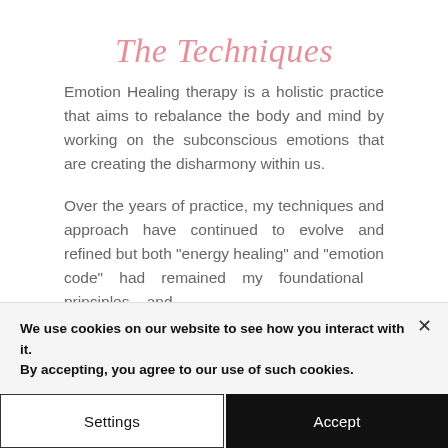The Techniques
Emotion Healing therapy is a holistic practice that aims to rebalance the body and mind by working on the subconscious emotions that are creating the disharmony within us.
Over the years of practice, my techniques and approach have continued to evolve and refined but both "energy healing" and "emotion code" had remained my foundational principles and
We use cookies on our website to see how you interact with it. By accepting, you agree to our use of such cookies.